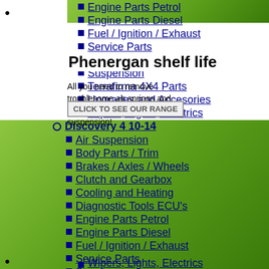Engine Parts Petrol
Engine Parts Diesel
Fuel / Ignition / Exhaust
Service Parts
Steering
Suspension
Terrafirma 4X4 Parts
Upgrades and Accesories
Wipers, Lights, Electrics
Phenergan shelf life
All you need to remove troublesome air springs and convert to standard coil suspension!
Discovery 4 10-14
Air Suspension
Body Parts / Trim
Brakes / Axles / Wheels
Clutch and Gearbox
Cooling and Heating
Diagnostic Tools ECU's
Engine Parts Petrol
Engine Parts Diesel
Fuel / Ignition / Exhaust
Service Parts
Steering
Suspension
Terrafirma 4X4 Parts
Upgrades and Accesories
Wipers, Lights, Electrics